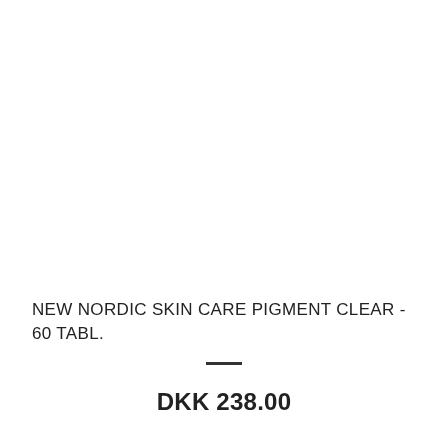NEW NORDIC SKIN CARE PIGMENT CLEAR - 60 TABL.
DKK 238.00